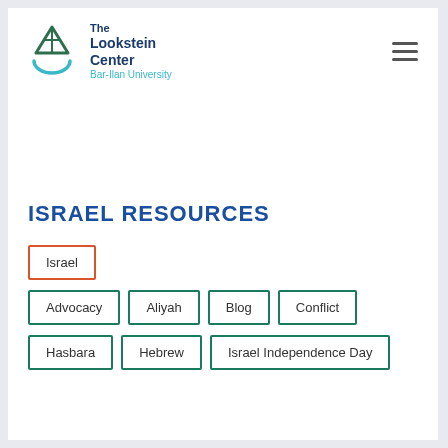[Figure (logo): The Lookstein Center at Bar-Ilan University logo — menorah/triangular symbol in teal and dark green with organization name text]
ISRAEL RESOURCES
Israel
Advocacy
Aliyah
Blog
Conflict
Hasbara
Hebrew
Israel Independence Day